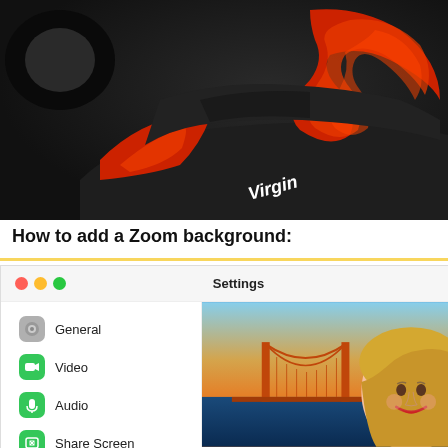[Figure (photo): Close-up of a black and red Formula 1 car with Virgin branding and decorative swirl design, dark background]
How to add a Zoom background:
[Figure (screenshot): Zoom Settings window screenshot showing macOS window controls (red, yellow, green dots), Settings title, and sidebar with General, Video, Audio, Share Screen, Phone, Chat menu items. Right side shows a photo of Golden Gate Bridge with a smiling blonde woman overlaid.]